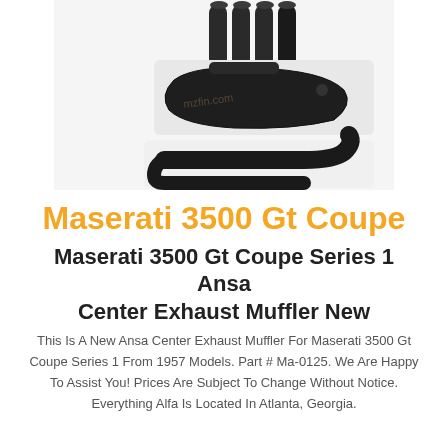[Figure (photo): Black exhaust muffler parts and pipes on a white background, with a watermark text overlay.]
Maserati 3500 Gt Coupe
Maserati 3500 Gt Coupe Series 1 Ansa Center Exhaust Muffler New
This Is A New Ansa Center Exhaust Muffler For Maserati 3500 Gt Coupe Series 1 From 1957 Models. Part # Ma-0125. We Are Happy To Assist You! Prices Are Subject To Change Without Notice. Everything Alfa Is Located In Atlanta, Georgia.